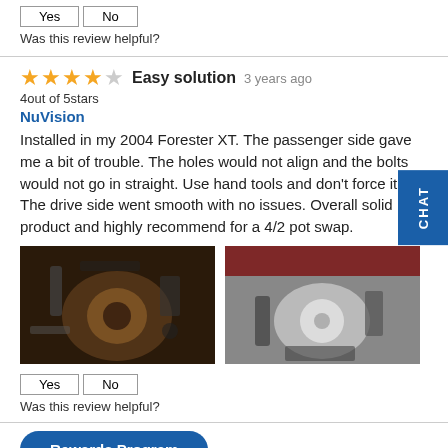Was this review helpful?
Easy solution  3 years ago
4out of 5stars
NuVision
Installed in my 2004 Forester XT. The passenger side gave me a bit of trouble. The holes would not align and the bolts would not go in straight. Use hand tools and don't force it. The drive side went smooth with no issues. Overall solid product and highly recommend for a 4/2 pot swap.
[Figure (photo): Two photos of brake/suspension installation on a vehicle. Left photo shows rusty/dirty brake assembly. Right photo shows a cleaner brake rotor and caliper assembly.]
Was this review helpful?
Rewards Program